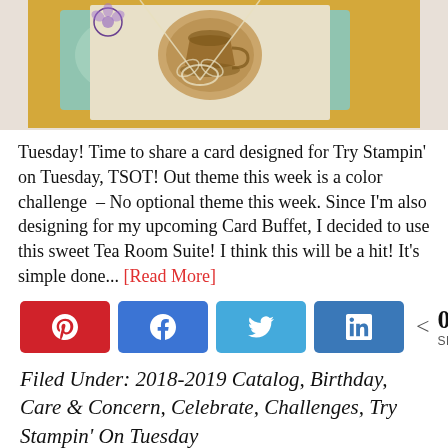[Figure (photo): Partial view of a handmade greeting card with gold/yellow card stock, teal tissue, a tea cup stamped image, and a white twine bow]
Tuesday! Time to share a card designed for Try Stampin' on Tuesday, TSOT! Out theme this week is a color challenge – No optional theme this week. Since I'm also designing for my upcoming Card Buffet, I decided to use this sweet Tea Room Suite! I think this will be a hit! It's simple done... [Read More]
[Figure (infographic): Social sharing buttons row: Pinterest (red), Facebook (blue), Twitter (light blue), LinkedIn (dark blue), share icon with count 0 SHARES]
Filed Under: 2018-2019 Catalog, Birthday, Care & Concern, Celebrate, Challenges, Try Stampin' On Tuesday